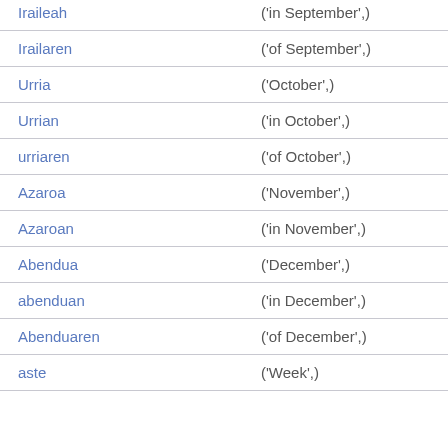| Basque | English |
| --- | --- |
| Iraileah | ('in September',) |
| Irailaren | ('of September',) |
| Urria | ('October',) |
| Urrian | ('in October',) |
| urriaren | ('of October',) |
| Azaroa | ('November',) |
| Azaroan | ('in November',) |
| Abendua | ('December',) |
| abenduan | ('in December',) |
| Abenduaren | ('of December',) |
| aste | ('Week',) |